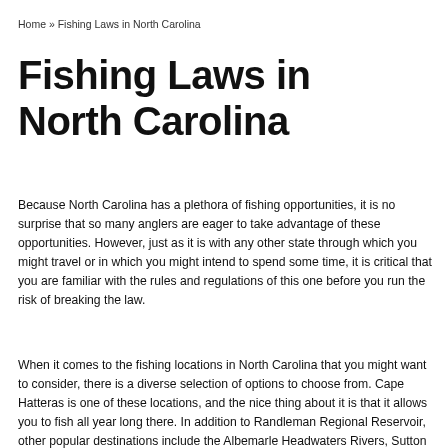Home » Fishing Laws in North Carolina
Fishing Laws in North Carolina
Because North Carolina has a plethora of fishing opportunities, it is no surprise that so many anglers are eager to take advantage of these opportunities. However, just as it is with any other state through which you might travel or in which you might intend to spend some time, it is critical that you are familiar with the rules and regulations of this one before you run the risk of breaking the law.
When it comes to the fishing locations in North Carolina that you might want to consider, there is a diverse selection of options to choose from. Cape Hatteras is one of these locations, and the nice thing about it is that it allows you to fish all year long there. In addition to Randleman Regional Reservoir, other popular destinations include the Albemarle Headwaters Rivers, Sutton Lake, Fontana lake, and other fine destinations.